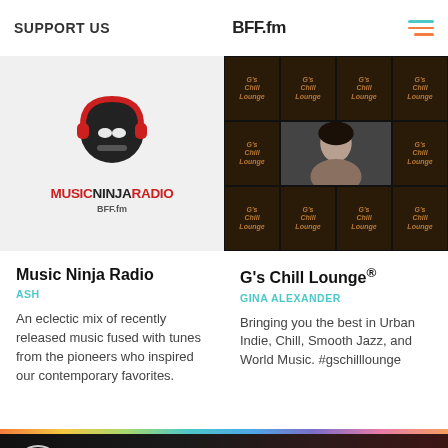SUPPORT US | BFF.fm
[Figure (photo): Music Ninja Radio show image with cartoon ninja character wearing headphones and red/white colors, with 'MUSICNINJARADIO' text in red and black, and BFF.fm logo]
[Figure (photo): G's Chill Lounge show image - grid of dark brown tiles with 'G's Chill Lounge' text, featuring a portrait photo of Gina Alexander in the center]
Music Ninja Radio
ASH
An eclectic mix of recently released music fused with tunes from the pioneers who inspired our contemporary favorites.
G's Chill Lounge®
GINA ALEXANDER
Bringing you the best in Urban Indie, Chill, Smooth Jazz, and World Music. #gschilllounge